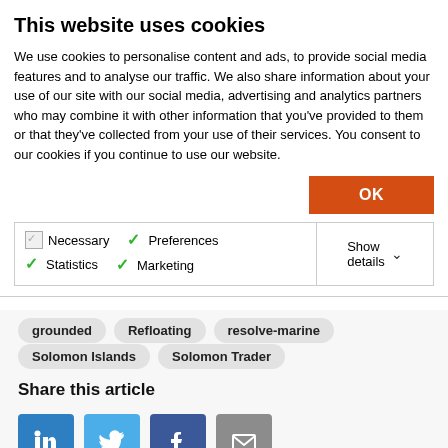This website uses cookies
We use cookies to personalise content and ads, to provide social media features and to analyse our traffic. We also share information about your use of our site with our social media, advertising and analytics partners who may combine it with other information that you've provided to them or that they've collected from your use of their services. You consent to our cookies if you continue to use our website.
OK
Necessary   Preferences   Statistics   Marketing   Show details
grounded
Refloating
resolve-marine
Solomon Islands
Solomon Trader
Share this article
[Figure (other): Social media share icons: LinkedIn, Twitter, Facebook, Email]